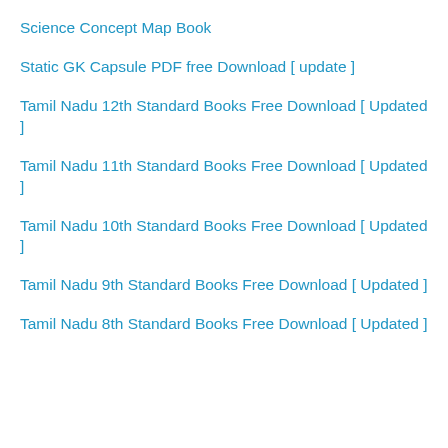Science Concept Map Book
Static GK Capsule PDF free Download [ update ]
Tamil Nadu 12th Standard Books Free Download [ Updated ]
Tamil Nadu 11th Standard Books Free Download [ Updated ]
Tamil Nadu 10th Standard Books Free Download [ Updated ]
Tamil Nadu 9th Standard Books Free Download [ Updated ]
Tamil Nadu 8th Standard Books Free Download [ Updated ]